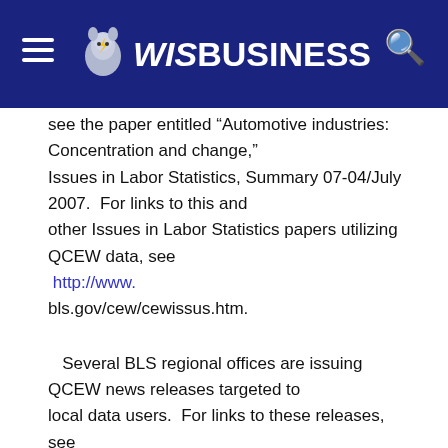WIS BUSINESS
see the paper entitled “Automotive industries: Concentration and change,” Issues in Labor Statistics, Summary 07-04/July 2007.  For links to this and other Issues in Labor Statistics papers utilizing QCEW data, see http://www.bls.gov/cew/cewissus.htm.
Several BLS regional offices are issuing QCEW news releases targeted to local data users.  For links to these releases, see http://www.bls.gov/cew/cewregional.htm.